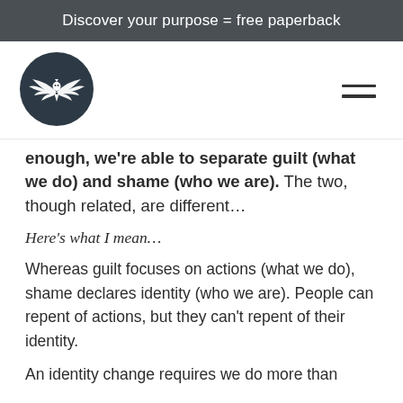Discover your purpose = free paperback
[Figure (logo): Circular dark navy logo with a bird/phoenix with wings spread, white on dark background]
enough, we’re able to separate guilt (what we do) and shame (who we are). The two, though related, are different…
Here’s what I mean…
Whereas guilt focuses on actions (what we do), shame declares identity (who we are). People can repent of actions, but they can’t repent of their identity.
An identity change requires we do more than